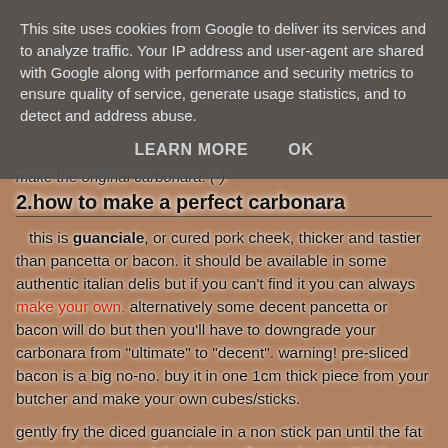This site uses cookies from Google to deliver its services and to analyze traffic. Your IP address and user-agent are shared with Google along with performance and security metrics to ensure quality of service, generate usage statistics, and to detect and address abuse.
LEARN MORE   OK
make the original carbonara. (-)
2.how to make a perfect carbonara
this is guanciale, or cured pork cheek, thicker and tastier than pancetta or bacon. it should be available in some authentic italian delis but if you can't find it you can always make your own. alternatively some decent pancetta or bacon will do but then you'll have to downgrade your carbonara from "ultimate" to "decent". warning! pre-sliced bacon is a big no-no. buy it in one 1cm thick piece from your butcher and make your own cubes/sticks.
gently fry the diced guanciale in a non stick pan until the fat gets translucent and the (traces of) meat brown slightly. you